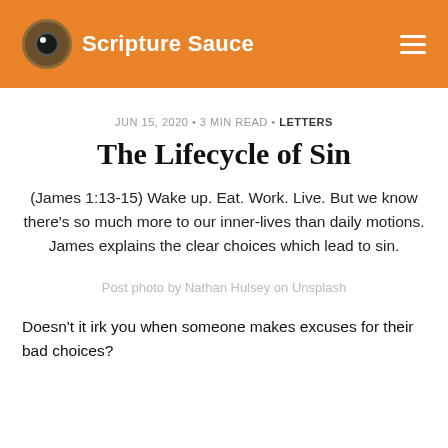Scripture Sauce
JUN 15, 2020 • 3 MIN READ • LETTERS
The Lifecycle of Sin
(James 1:13-15) Wake up. Eat. Work. Live. But we know there's so much more to our inner-lives than daily motions. James explains the clear choices which lead to sin.
Post photo by Nathan Hulsey on Unsplash
Doesn't it irk you when someone makes excuses for their bad choices?